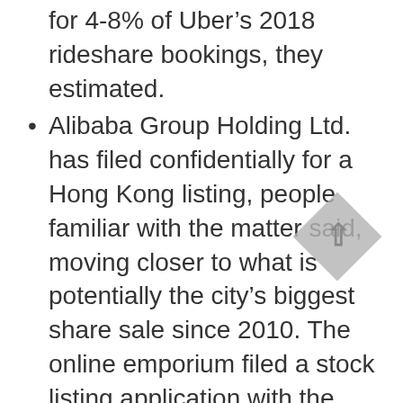for 4-8% of Uber's 2018 rideshare bookings, they estimated.
Alibaba Group Holding Ltd. has filed confidentially for a Hong Kong listing, people familiar with the matter said, moving closer to what is potentially the city's biggest share sale since 2010. The online emporium filed a stock listing application with the exchange this week without the need for final disclosures, the people said, requesting not to be named because the matter is private. It is said to have picked China International Capital Corp. and Credit Suisse Group AG as lead banks. The offering from China's largest corporation